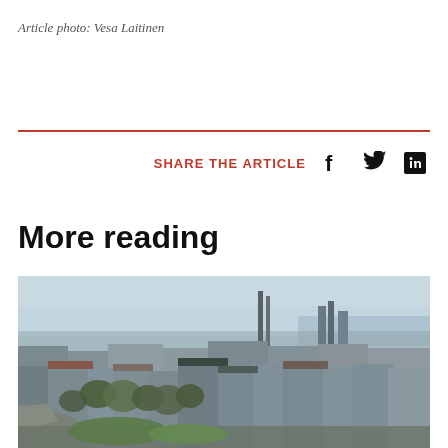Article photo: Vesa Laitinen
SHARE THE ARTICLE
More reading
[Figure (photo): Aerial view of a city (Helsinki) showing urban buildings, roads, trees, and a harbor in the background under an overcast sky.]